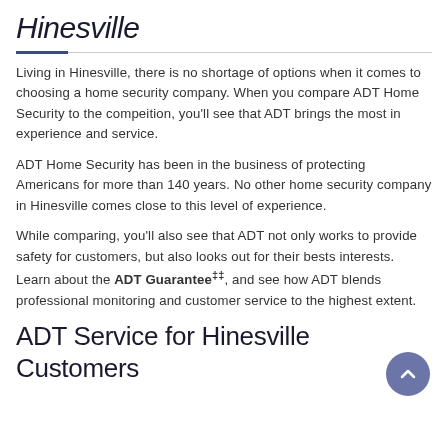Hinesville
Living in Hinesville, there is no shortage of options when it comes to choosing a home security company. When you compare ADT Home Security to the compeition, you'll see that ADT brings the most in experience and service.
ADT Home Security has been in the business of protecting Americans for more than 140 years. No other home security company in Hinesville comes close to this level of experience.
While comparing, you'll also see that ADT not only works to provide safety for customers, but also looks out for their bests interests. Learn about the ADT Guarantee‡‡, and see how ADT blends professional monitoring and customer service to the highest extent.
ADT Service for Hinesville Customers